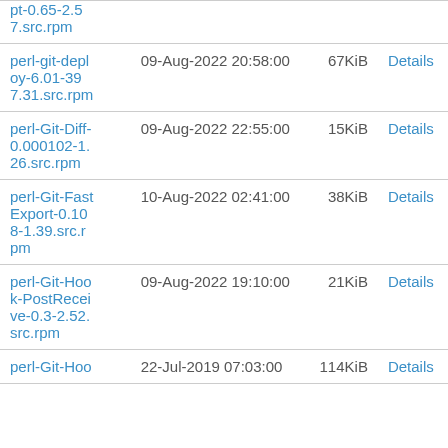| Name | Date | Size |  |
| --- | --- | --- | --- |
| pt-0.65-2.57.src.rpm |  |  |  |
| perl-git-deploy-6.01-397.31.src.rpm | 09-Aug-2022 20:58:00 | 67KiB | Details |
| perl-Git-Diff-0.000102-1.26.src.rpm | 09-Aug-2022 22:55:00 | 15KiB | Details |
| perl-Git-FastExport-0.108-1.39.src.rpm | 10-Aug-2022 02:41:00 | 38KiB | Details |
| perl-Git-Hook-PostReceive-0.3-2.52.src.rpm | 09-Aug-2022 19:10:00 | 21KiB | Details |
| perl-Git-Hoo... | 22-Jul-2019 07:03:00 | 114KiB | Details |